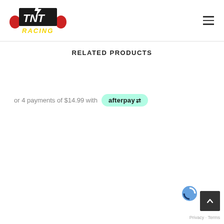TNT Racing logo and navigation hamburger menu
RELATED PRODUCTS
or 4 payments of $14.99 with afterpay
[Figure (logo): Scroll to top button with upward arrow on dark background, partial reCAPTCHA logo, Privacy and Terms text]